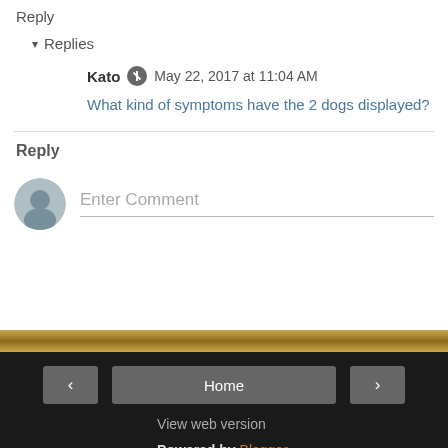Reply
▾ Replies
Kato  May 22, 2017 at 11:04 AM
What kind of symptoms have the 2 dogs displayed?
Reply
Enter Comment
Home  View web version  Powered by Blogger.